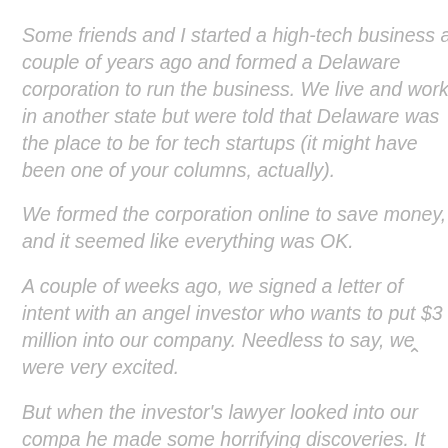Some friends and I started a high-tech business a couple of years ago and formed a Delaware corporation to run the business. We live and work in another state but were told that Delaware was the place to be for tech startups (it might have been one of your columns, actually).
We formed the corporation online to save money, and it seemed like everything was OK.
A couple of weeks ago, we signed a letter of intent with an angel investor who wants to put $3 million into our company. Needless to say, we were very excited.
But when the investor's lawyer looked into our compa he made some horrifying discoveries. It seems Delav killed off our corporation two years ago because we didn't pay a "franchise tax," whatever that is. Because our